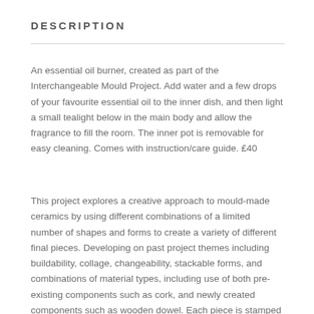DESCRIPTION
An essential oil burner, created as part of the Interchangeable Mould Project. Add water and a few drops of your favourite essential oil to the inner dish, and then light a small tealight below in the main body and allow the fragrance to fill the room. The inner pot is removable for easy cleaning. Comes with instruction/care guide. £40
This project explores a creative approach to mould-made ceramics by using different combinations of a limited number of shapes and forms to create a variety of different final pieces. Developing on past project themes including buildability, collage, changeability, stackable forms, and combinations of material types, including use of both pre-existing components such as cork, and newly created components such as wooden dowel. Each piece is stamped with a number code on the base which describes the mould parts used to create the